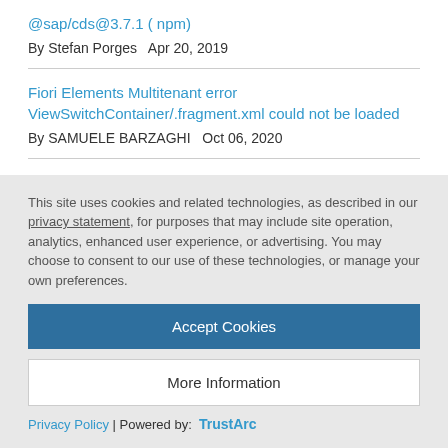@sap/cds@3.7.1 ( npm)
By Stefan Porges   Apr 20, 2019
Fiori Elements Multitenant error ViewSwitchContainer/.fragment.xml could not be loaded
By SAMUELE BARZAGHI   Oct 06, 2020
Counting associated entities using CDS
By Pierre Dominique   Aug 20, 2019
This site uses cookies and related technologies, as described in our privacy statement, for purposes that may include site operation, analytics, enhanced user experience, or advertising. You may choose to consent to our use of these technologies, or manage your own preferences.
Accept Cookies
More Information
Privacy Policy | Powered by: TrustArc